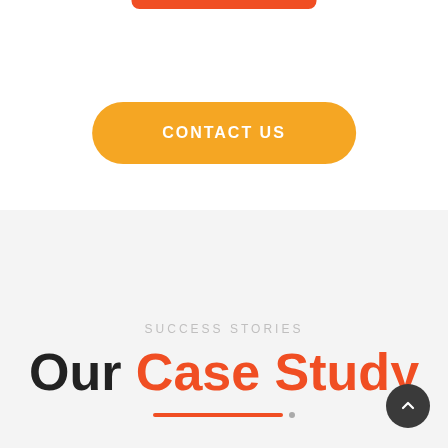[Figure (other): Partial red button stub visible at top of page]
CONTACT US
SUCCESS STORIES
Our Case Study
[Figure (other): Decorative orange underline bar with small grey dot accent]
[Figure (other): Dark circular scroll-to-top button with upward chevron arrow, bottom right corner]